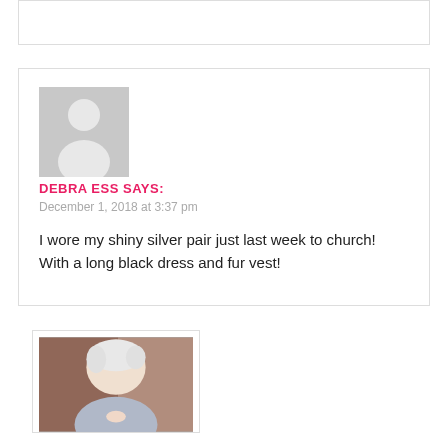[Figure (other): Partial top border of a comment box, cut off at top of page]
[Figure (illustration): Generic avatar placeholder — grey square with white person silhouette]
DEBRA ESS SAYS:
December 1, 2018 at 3:37 pm
I wore my shiny silver pair just last week to church! With a long black dress and fur vest!
[Figure (photo): Partial photo of a woman with short white/silver hair, shown from shoulders up, in a reply/nested comment box]